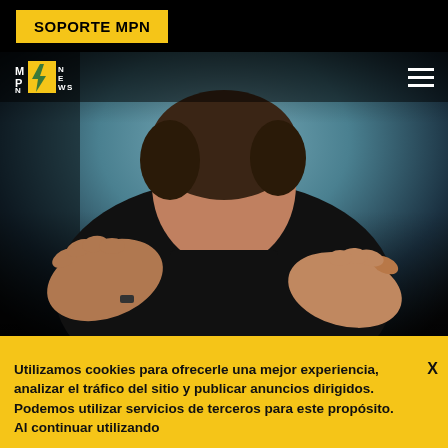SOPORTE MPN
[Figure (logo): MPN News logo with yellow lightning bolt graphic]
[Figure (photo): Steve Bannon in dark jacket gesturing with both hands, against blurred background]
OPINION
STEVE BANNON DECLARES 'WAR ROOMS' TO
Utilizamos cookies para ofrecerle una mejor experiencia, analizar el tráfico del sitio y publicar anuncios dirigidos. Podemos utilizar servicios de terceros para este propósito. Al continuar utilizando